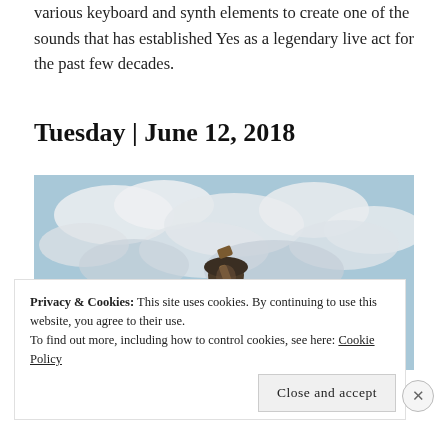various keyboard and synth elements to create one of the sounds that has established Yes as a legendary live act for the past few decades.
Tuesday | June 12, 2018
[Figure (photo): A person wearing a hat playing an acoustic guitar outdoors against a cloudy sky background]
Privacy & Cookies: This site uses cookies. By continuing to use this website, you agree to their use.
To find out more, including how to control cookies, see here: Cookie Policy
Close and accept